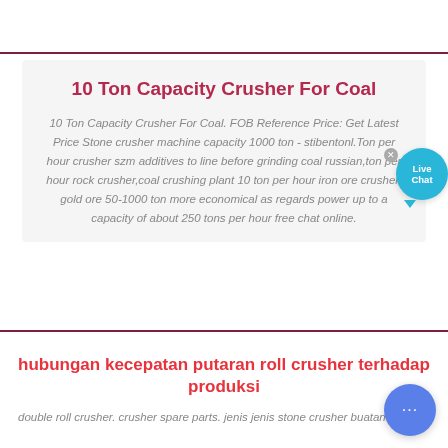10 Ton Capacity Crusher For Coal
10 Ton Capacity Crusher For Coal. FOB Reference Price: Get Latest Price Stone crusher machine capacity 1000 ton - stibentonl.Ton per hour crusher szm additives to line before grinding coal russian,ton per hour rock crusher,coal crushing plant 10 ton per hour iron ore crusher, gold ore 50-1000 ton more economical as regards power up to a capacity of about 250 tons per hour free chat online.
hubungan kecepatan putaran roll crusher terhadap produksi
double roll crusher. crusher spare parts. jenis jenis stone crusher buatan